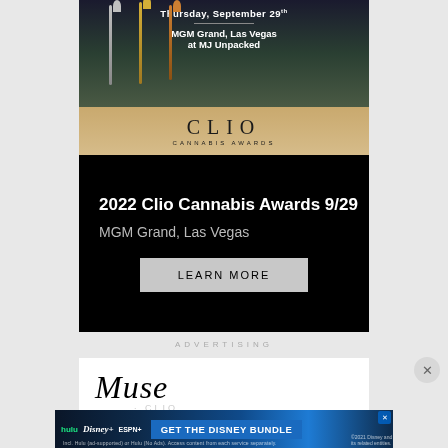[Figure (illustration): Clio Cannabis Awards promotional banner with trophy images, dark background, text 'Thursday, September 29th', 'MGM Grand, Las Vegas at MJ Unpacked', Clio Cannabis Awards gold logo]
2022 Clio Cannabis Awards 9/29
MGM Grand, Las Vegas
LEARN MORE
ADVERTISING
[Figure (logo): Muse by Clio logo - handwritten style Muse text with CLIO watermark]
[Figure (illustration): Disney Bundle advertisement with Hulu, Disney+, ESPN+ logos and 'GET THE DISNEY BUNDLE' call to action]